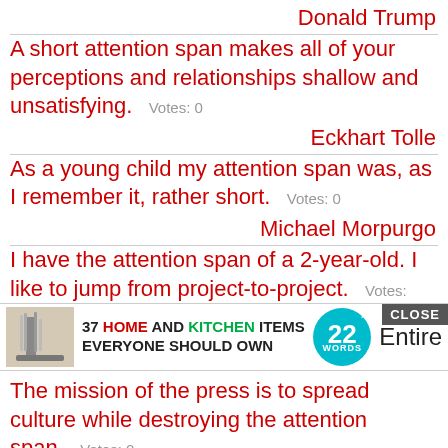Donald Trump
A short attention span makes all of your perceptions and relationships shallow and unsatisfying.  Votes: 0
Eckhart Tolle
As a young child my attention span was, as I remember it, rather short.  Votes: 0
Michael Morpurgo
I have the attention span of a 2-year-old. I like to jump from project-to-project.  Votes: 0
[Figure (other): Advertisement banner: image of kitchen items, text '37 HOME AND KITCHEN ITEMS EVERYONE SHOULD OWN', teal circle logo '22 WORDS', close button, partial word 'Entire']
The mission of the press is to spread culture while destroying the attention span.  Votes: 0